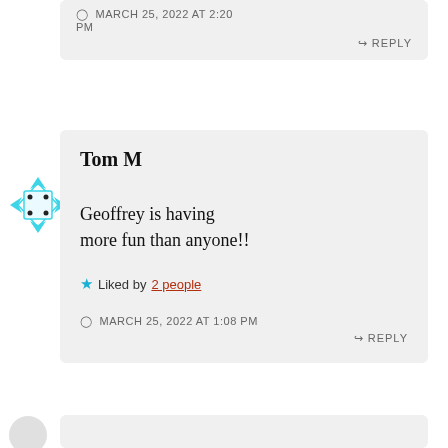MARCH 25, 2022 AT 2:20 PM
REPLY
[Figure (illustration): Cyan/turquoise dice icon with decorative arrow points, used as user avatar]
Tom M
Geoffrey is having more fun than anyone!!
Liked by 2 people
MARCH 25, 2022 AT 1:08 PM
REPLY